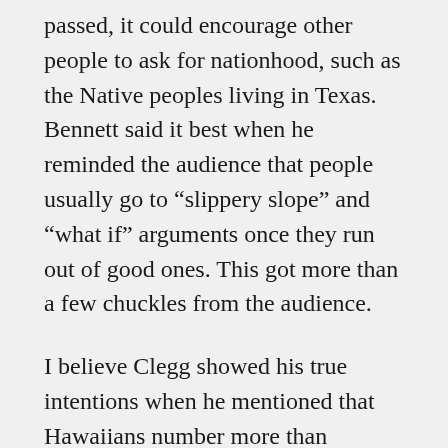passed, it could encourage other people to ask for nationhood, such as the Native peoples living in Texas. Bennett said it best when he reminded the audience that people usually go to “slippery slope” and “what if” arguments once they run out of good ones. This got more than a few chuckles from the audience.
I believe Clegg showed his true intentions when he mentioned that Hawaiians number more than 400,000 people across the nation and asked whether it would be wise to give so much power to such a large group within the U.S. He stressed that no American Indian or Alaska Native tribe even comes close to our numbers. If he had done his research, he would